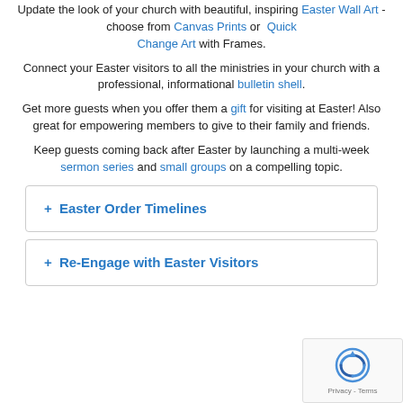Update the look of your church with beautiful, inspiring Easter Wall Art - choose from Canvas Prints or Quick Change Art with Frames.
Connect your Easter visitors to all the ministries in your church with a professional, informational bulletin shell.
Get more guests when you offer them a gift for visiting at Easter! Also great for empowering members to give to their family and friends.
Keep guests coming back after Easter by launching a multi-week sermon series and small groups on a compelling topic.
+ Easter Order Timelines
+ Re-Engage with Easter Visitors
[Figure (other): reCAPTCHA widget overlay in bottom-right corner showing the reCAPTCHA logo and Privacy - Terms text]